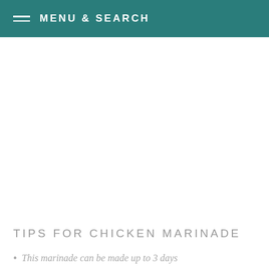MENU & SEARCH
TIPS FOR CHICKEN MARINADE
This marinade can be made up to 3 days